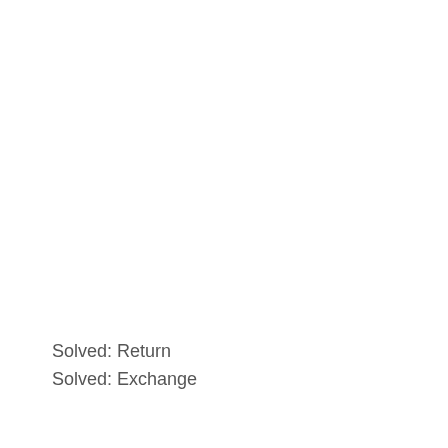Solved: Return
Solved: Exchange